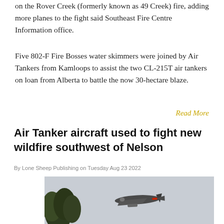on the Rover Creek (formerly known as 49 Creek) fire, adding more planes to the fight said Southeast Fire Centre Information office.
Five 802-F Fire Bosses water skimmers were joined by Air Tankers from Kamloops to assist the two CL-215T air tankers on loan from Alberta to battle the now 30-hectare blaze.
Read More
Air Tanker aircraft used to fight new wildfire southwest of Nelson
By Lone Sheep Publishing on Tuesday Aug 23 2022
[Figure (photo): An air tanker aircraft flying in a grey sky with trees visible on the left side of the image.]